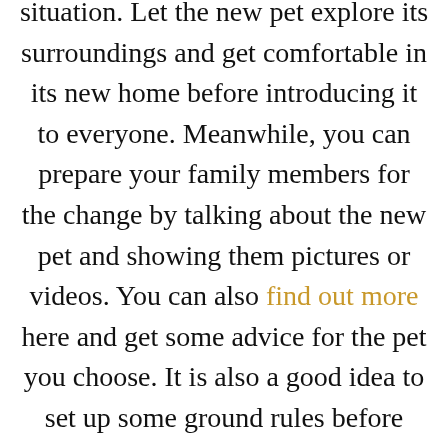situation. Let the new pet explore its surroundings and get comfortable in its new home before introducing it to everyone. Meanwhile, you can prepare your family members for the change by talking about the new pet and showing them pictures or videos. You can also find out more here and get some advice for the pet you choose. It is also a good idea to set up some ground rules before introducing the new pet to your family. For example, you may want to establish rules about where the pet is allowed to go in your home, what types of food it can eat, and how much